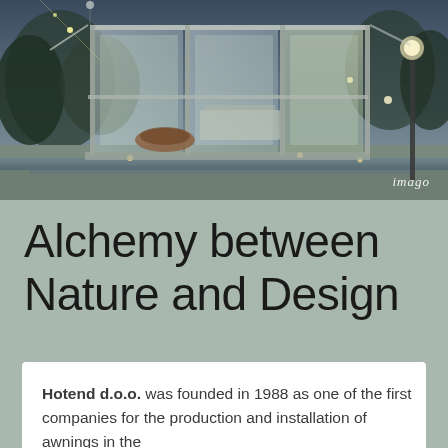[Figure (photo): Architectural photography of a modern glass pavilion or spa structure photographed at dusk/evening. The building features large glass panels and a steel frame structure, with warm interior lighting. Decorative string lights hang outside. A wooden bowl-shaped water feature is visible inside. The structure is surrounded by water and a garden setting with trees in the background.]
imago
Alchemy between Nature and Design
Hotend d.o.o. was founded in 1988 as one of the first companies for the production and installation of awnings in the